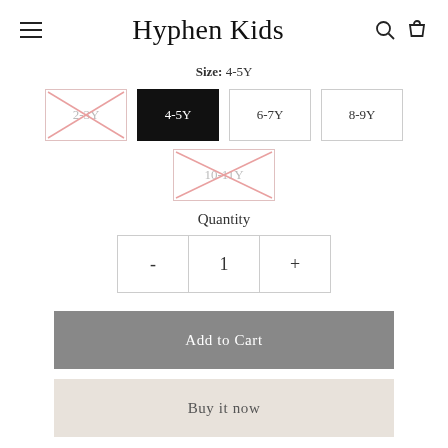Hyphen Kids
Size: 4-5Y
2-3Y (sold out), 4-5Y (selected), 6-7Y, 8-9Y, 10-11Y (sold out)
Quantity
- 1 +
Add to Cart
Buy it now